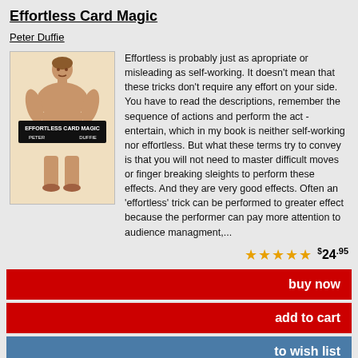Effortless Card Magic
Peter Duffie
[Figure (illustration): Book cover for Effortless Card Magic by Peter Duffie, showing a vintage illustration of a muscular man in shorts holding a banner that reads EFFORTLESS CARD MAGIC PETER DUFFIE in white text on black background]
Effortless is probably just as apropriate or misleading as self-working. It doesn't mean that these tricks don't require any effort on your side. You have to read the descriptions, remember the sequence of actions and perform the act - entertain, which in my book is neither self-working nor effortless. But what these terms try to convey is that you will not need to master difficult moves or finger breaking sleights to perform these effects. And they are very good effects. Often an 'effortless' trick can be performed to greater effect because the performer can pay more attention to audience managment,...
★★★★★ $24.95
buy now
add to cart
to wish list
PDF